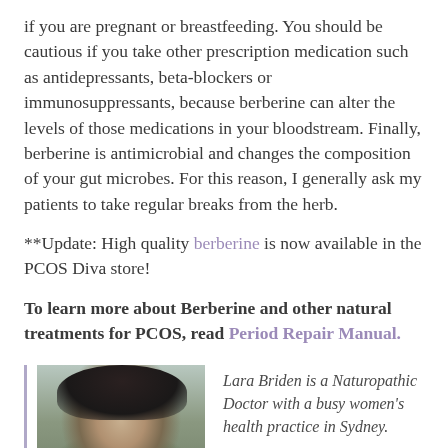if you are pregnant or breastfeeding. You should be cautious if you take other prescription medication such as antidepressants, beta-blockers or immunosuppressants, because berberine can alter the levels of those medications in your bloodstream. Finally, berberine is antimicrobial and changes the composition of your gut microbes. For this reason, I generally ask my patients to take regular breaks from the herb.
**Update: High quality berberine is now available in the PCOS Diva store!
To learn more about Berberine and other natural treatments for PCOS, read Period Repair Manual.
[Figure (photo): Headshot of Lara Briden, a woman with dark hair, smiling, outdoors with blurred green background]
Lara Briden is a Naturopathic Doctor with a busy women's health practice in Sydney.